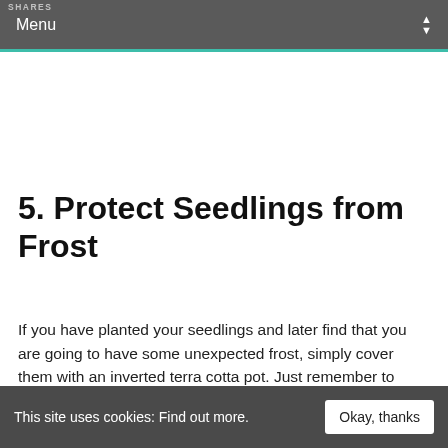SHARES  Menu
5.  Protect Seedlings from Frost
If you have planted your seedlings and later find that you are going to have some unexpected frost, simply cover them with an inverted terra cotta pot. Just remember to uncover them as soon as the weather warms up!  If you have
This site uses cookies: Find out more.  Okay, thanks